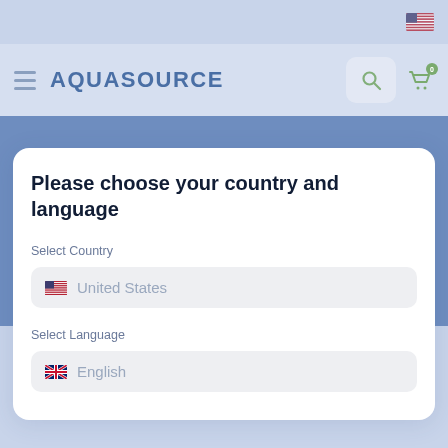[Figure (screenshot): AquaSource website header with hamburger menu, logo, search icon, and cart icon on a light blue background. A US flag icon appears in the top right corner.]
Please choose your country and language
Select Country
United States
Select Language
English